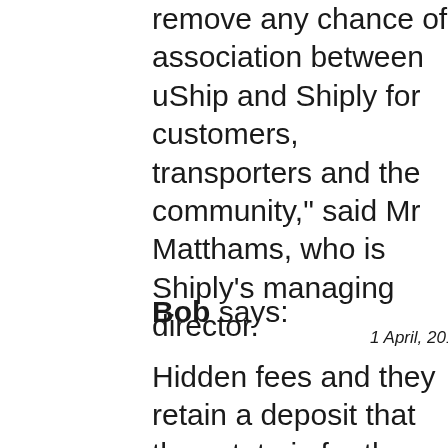remove any chance of association between uShip and Shiply for customers, transporters and the community," said Mr Matthams, who is Shiply's managing director.
Bob says:
1 April, 2011 at 1:38 pm
Hidden fees and they retain a deposit that they state is for the